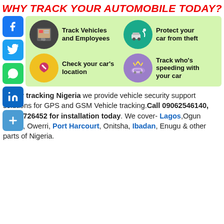WHY TRACK YOUR AUTOMOBILE TODAY?
[Figure (infographic): Four feature icons on green background: Track Vehicles and Employees (dark grey circle with map/person icon), Protect your car from theft (teal circle with car theft icon), Check your car's location (yellow circle with broken heart), Track who's speeding with your car (purple circle with speeding car)]
[Figure (infographic): Social media sidebar icons: Facebook (blue), Twitter (blue), WhatsApp (green), LinkedIn (blue), Google+ (red)]
At Car tracking Nigeria we provide vehicle security support solutions for GPS and GSM Vehicle tracking. Call 09062546140, 08069726452 for installation today. We cover- Lagos, Ogun Abuja, Owerri, Port Harcourt, Onitsha, Ibadan, Enugu & other parts of Nigeria.